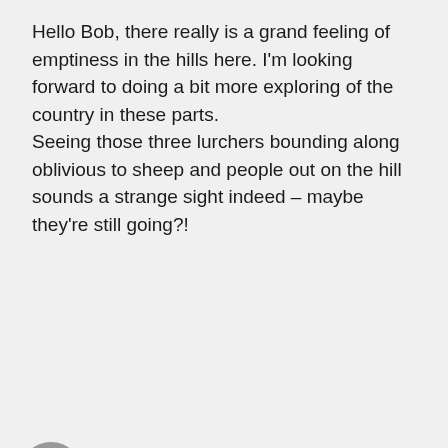Hello Bob, there really is a grand feeling of emptiness in the hills here. I'm looking forward to doing a bit more exploring of the country in these parts. Seeing those three lurchers bounding along oblivious to sheep and people out on the hill sounds a strange sight indeed – maybe they're still going?!
↳ Reply
Privacy & Cookies: This site uses cookies. By continuing to use this website, you agree to their use. To find out more, including how to control cookies, see here: Cookie Policy
Close and accept